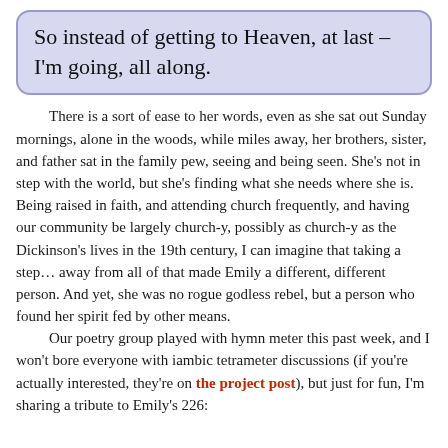So instead of getting to Heaven, at last –
I'm going, all along.
There is a sort of ease to her words, even as she sat out Sunday mornings, alone in the woods, while miles away, her brothers, sister, and father sat in the family pew, seeing and being seen. She's not in step with the world, but she's finding what she needs where she is. Being raised in faith, and attending church frequently, and having our community be largely church-y, possibly as church-y as the Dickinson's lives in the 19th century, I can imagine that taking a step… away from all of that made Emily a different, different person. And yet, she was no rogue godless rebel, but a person who found her spirit fed by other means.
Our poetry group played with hymn meter this past week, and I won't bore everyone with iambic tetrameter discussions (if you're actually interested, they're on the project post), but just for fun, I'm sharing a tribute to Emily's 236: